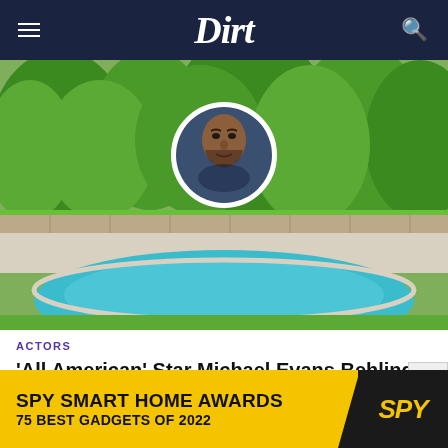Dirt
[Figure (photo): Outdoor swimming pool with lush green trees in background; circular inset portrait of Michael Evans Behling, a young man in a blue jacket]
ACTORS
'All American' Star Michael Evans Behling Scores Renovated Los Angeles House
[Figure (screenshot): SPY Smart Home Awards advertisement banner with text 'SPY SMART HOME AWARDS 75 BEST GADGETS OF 2022' on yellow background with SPY logo]